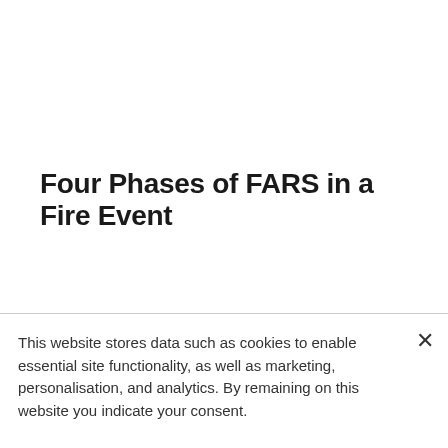Four Phases of FARS in a Fire Event
By Chief David Kerr, Plano Fire Dept. (ret.) and Capt. Mike Gagliano, Seattle Fire Dept. (ret.) Two things are essential to conduct a successful fire attack: air and water.  A limited supply of air or water will greatly increase the danger to both firefighters and the
This website stores data such as cookies to enable essential site functionality, as well as marketing, personalisation, and analytics. By remaining on this website you indicate your consent.